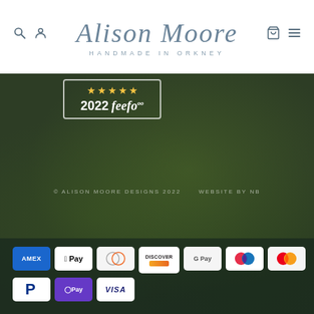Alison Moore — HANDMADE IN ORKNEY
[Figure (logo): Feefo 2022 platinum award badge with 5 stars]
© ALISON MOORE DESIGNS 2022    WEBSITE BY NB
[Figure (infographic): Payment method icons: American Express, Apple Pay, Diners Club, Discover, Google Pay, Maestro, Mastercard, PayPal, Shop Pay, Visa]